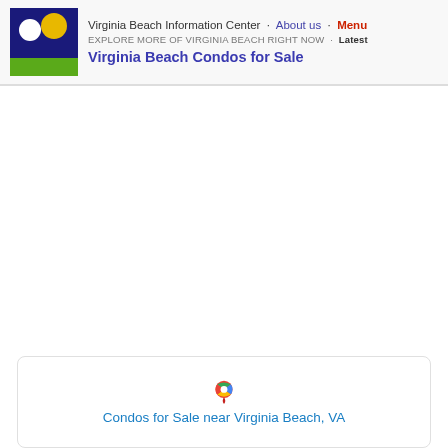Virginia Beach Information Center · About us · Menu
EXPLORE MORE OF VIRGINIA BEACH RIGHT NOW · Latest
Virginia Beach Condos for Sale
[Figure (logo): Virginia Beach Information Center logo with dark blue background, white moon circle, yellow/gold sun circle, and green rectangle strip at bottom]
[Figure (map): Google Maps icon (location pin with map colors red, green, blue, yellow) above text 'Condos for Sale near Virginia Beach, VA']
Condos for Sale near Virginia Beach, VA